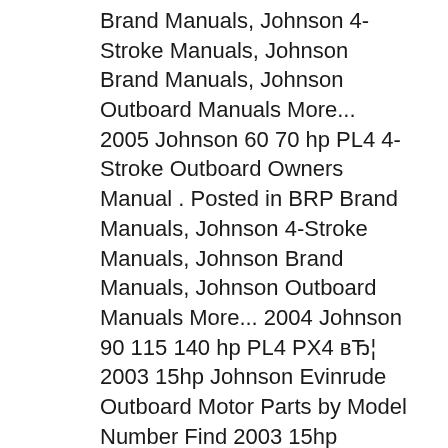Brand Manuals, Johnson 4-Stroke Manuals, Johnson Brand Manuals, Johnson Outboard Manuals More... 2005 Johnson 60 70 hp PL4 4-Stroke Outboard Owners Manual . Posted in BRP Brand Manuals, Johnson 4-Stroke Manuals, Johnson Brand Manuals, Johnson Outboard Manuals More... 2004 Johnson 90 115 140 hp PL4 PX4 вЂ¦ 2003 15hp Johnson Evinrude Outboard Motor Parts by Model Number Find 2003 15hp Johnson Evinrude Outboard Motor Parts by Model Number Revise Search: All Years > 2003 > 15 hp
The 2007 Johnson line includes just the 25-, 15- and 9.9-hp four-strokes and the 9.9/15 two-strokes. But a memo from